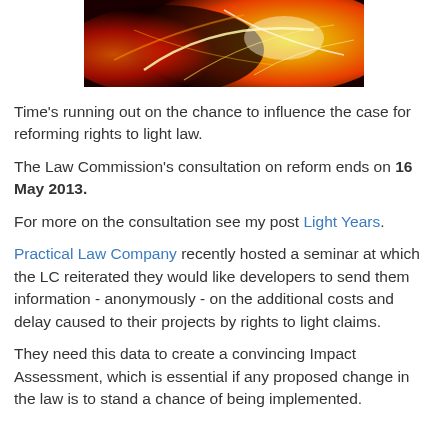[Figure (photo): Abstract fire and light streaks image in red, orange and yellow tones]
Time's running out on the chance to influence the case for reforming rights to light law.
The Law Commission's consultation on reform ends on 16 May 2013.
For more on the consultation see my post Light Years.
Practical Law Company recently hosted a seminar at which the LC reiterated they would like developers to send them information - anonymously - on the additional costs and delay caused to their projects by rights to light claims.
They need this data to create a convincing Impact Assessment, which is essential if any proposed change in the law is to stand a chance of being implemented.